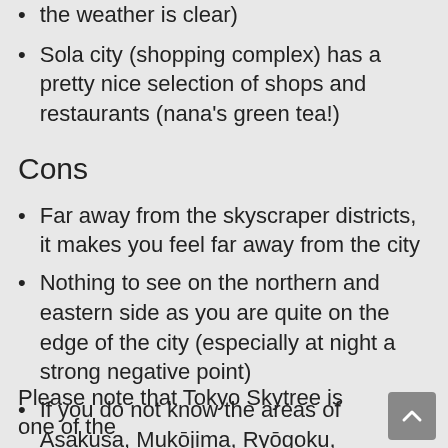the weather is clear)
Sola city (shopping complex) has a pretty nice selection of shops and restaurants (nana's green tea!)
Cons
Far away from the skyscraper districts, it makes you feel far away from the city
Nothing to see on the northern and eastern side as you are quite on the edge of the city (especially at night a strong negative point)
If you do not know the areas of Asakusa, Mukōjima, Ryōgoku, Nihombashi etc very well it is probably not as interesting to see
Please note that Tokyo Skytree is one of the